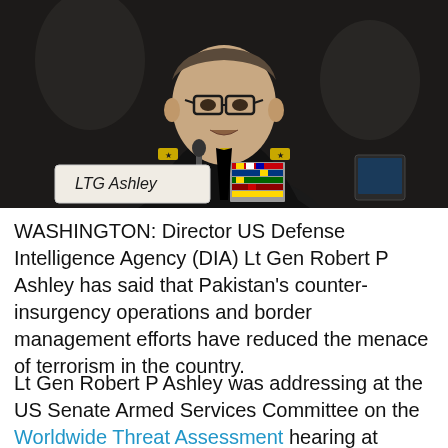[Figure (photo): A US military officer in dress uniform with medals and rank insignia (LTG Ashley nameplate visible) speaking at a hearing, seated at a table with a microphone, dark background with other people visible behind.]
WASHINGTON: Director US Defense Intelligence Agency (DIA) Lt Gen Robert P Ashley has said that Pakistan's counter-insurgency operations and border management efforts have reduced the menace of terrorism in the country.
Lt Gen Robert P Ashley was addressing at the US Senate Armed Services Committee on the Worldwide Threat Assessment hearing at Capitol Hill on Wednesday.